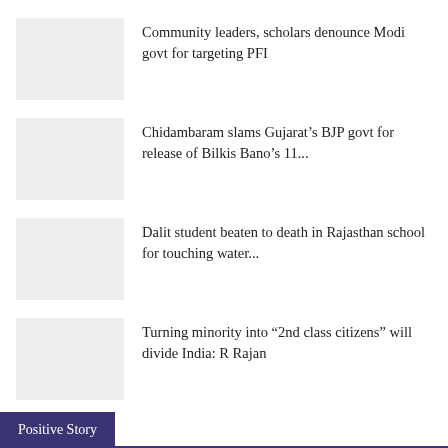Community leaders, scholars denounce Modi govt for targeting PFI
Chidambaram slams Gujarat’s BJP govt for release of Bilkis Bano’s 11...
Dalit student beaten to death in Rajasthan school for touching water...
Turning minority into “2nd class citizens” will divide India: R Rajan
Positive Story